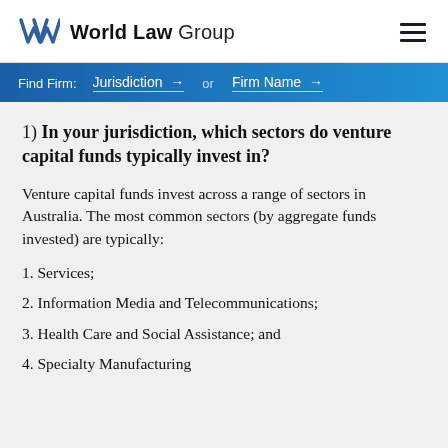World Law Group
Find Firm: Jurisdiction → or Firm Name →
1) In your jurisdiction, which sectors do venture capital funds typically invest in?
Venture capital funds invest across a range of sectors in Australia. The most common sectors (by aggregate funds invested) are typically:
1. Services;
2. Information Media and Telecommunications;
3. Health Care and Social Assistance; and
4. Specialty Manufacturing